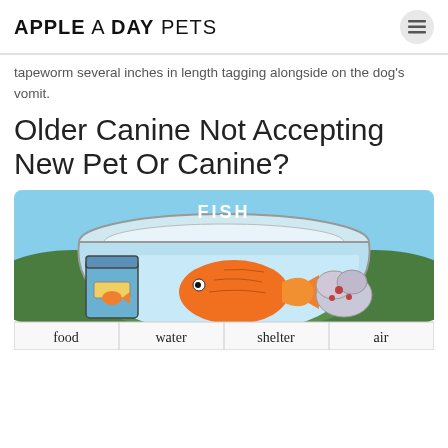APPLE A DAY PETS
tapeworm several inches in length tagging alongside on the dog's vomit.
Older Canine Not Accepting New Pet Or Canine?
[Figure (illustration): Cartoon illustration of a fish bowl labeled FISH at the top, containing an orange goldfish, a jar of fish food, and a decorative plant/coral. Below the bowl is a row with labels: food, water, shelter, air.]